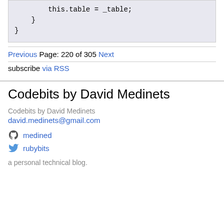this.table = _table;
    }
}
Previous Page: 220 of 305 Next
subscribe via RSS
Codebits by David Medinets
Codebits by David Medinets
david.medinets@gmail.com
medined
rubybits
a personal technical blog.